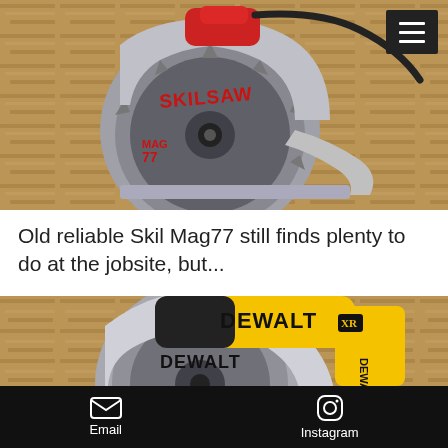[Figure (photo): SKILSAW Mag77 circular saw resting on OSB plywood, with a red handle and gray blade guard, power cord visible. A black hamburger menu icon is in the top-right corner.]
Old reliable Skil Mag77 still finds plenty to do at the jobsite, but...
[Figure (photo): DeWalt cordless circular saw with yellow housing and gray blade on OSB plywood background.]
Email   Instagram